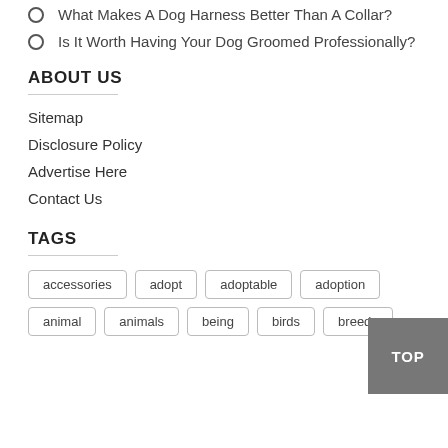What Makes A Dog Harness Better Than A Collar?
Is It Worth Having Your Dog Groomed Professionally?
ABOUT US
Sitemap
Disclosure Policy
Advertise Here
Contact Us
TAGS
accessories
adopt
adoptable
adoption
animal
animals
being
birds
breeds